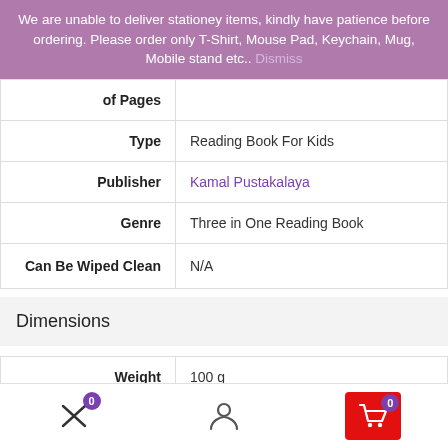We are unable to deliver stationey items, kindly have patience before ordering. Please order only T-Shirt, Mouse Pad, Keychain, Mug, Mobile stand etc.. Dismiss
| Attribute | Value |
| --- | --- |
| of Pages |  |
| Type | Reading Book For Kids |
| Publisher | Kamal Pustakalaya |
| Genre | Three in One Reading Book |
| Can Be Wiped Clean | N/A |
Dimensions
| Attribute | Value |
| --- | --- |
| Weight | 100 g |